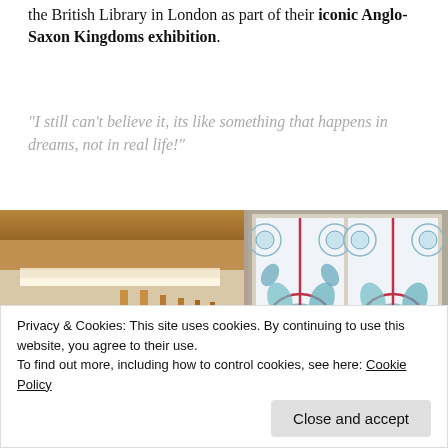the British Library in London as part of their iconic Anglo-Saxon Kingdoms exhibition.
"I still can't believe it, its like something that happens in dreams, not in real life!"
[Figure (photo): Interior of what appears to be a museum or library display area. On the left side, tall golden/brass fixtures are visible along with warm-lit display cases. On the right side, a large illuminated panel displays an intricate pattern with circular and floral motifs in shades of blue, teal, red, and white — resembling Anglo-Saxon or medieval manuscript decoration.]
Privacy & Cookies: This site uses cookies. By continuing to use this website, you agree to their use.
To find out more, including how to control cookies, see here: Cookie Policy
Close and accept